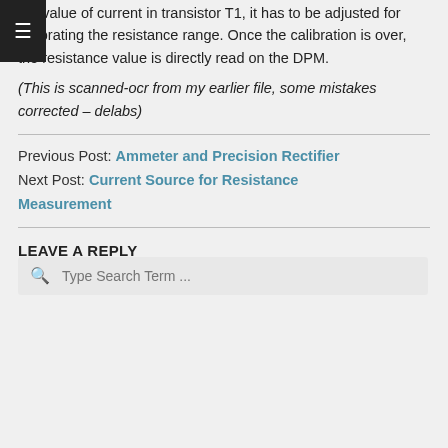the value of current in transistor T1, it has to be adjusted for calibrating the resistance range. Once the calibration is over, the resistance value is directly read on the DPM.
(This is scanned-ocr from my earlier file, some mistakes corrected – delabs)
Previous Post: Ammeter and Precision Rectifier
Next Post: Current Source for Resistance Measurement
LEAVE A REPLY
You must be logged in to post a comment.